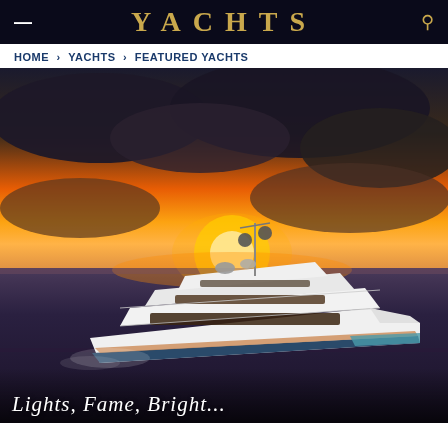YACHTS
HOME > YACHTS > FEATURED YACHTS
[Figure (photo): Luxury superyacht photographed at sunset on open water. The large white motor yacht with multiple decks and satellite equipment is shown in three-quarter view sailing against a dramatic orange and golden sunset sky with dark clouds.]
Lights, Fame, Bright...